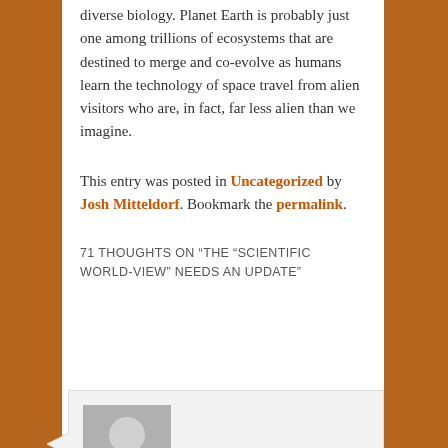diverse biology. Planet Earth is probably just one among trillions of ecosystems that are destined to merge and co-evolve as humans learn the technology of space travel from alien visitors who are, in fact, far less alien than we imagine.
This entry was posted in Uncategorized by Josh Mitteldorf. Bookmark the permalink.
71 THOUGHTS ON "THE "SCIENTIFIC WORLD-VIEW" NEEDS AN UPDATE"
[Figure (illustration): Generic user avatar icon - grey silhouette of a person on grey background]
Brian Valerie on December 31, 2019 at 10:37 pm
said:
Thank you so much for taking the time and effort to carefully support your arguments, Josh. They demonstrate neither hubris nor foolish speculation